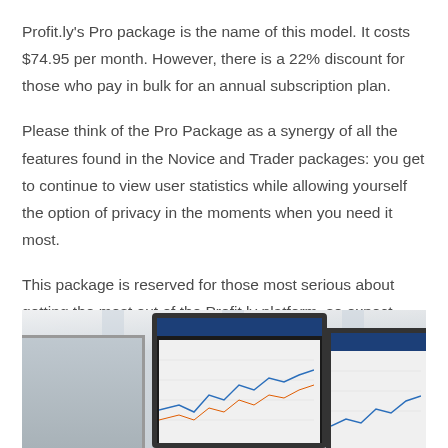Profit.ly's Pro package is the name of this model. It costs $74.95 per month. However, there is a 22% discount for those who pay in bulk for an annual subscription plan.
Please think of the Pro Package as a synergy of all the features found in the Novice and Trader packages: you get to continue to view user statistics while allowing yourself the option of privacy in the moments when you need it most.
This package is reserved for those most serious about getting the most out of the Profit.ly platform, so expect many of these users to be seasoned traders or users with deep enough pockets to afford the plan on a subscription basis.
[Figure (photo): Photo of multiple computer monitors displaying trading charts and data on a desk near a window with natural light.]